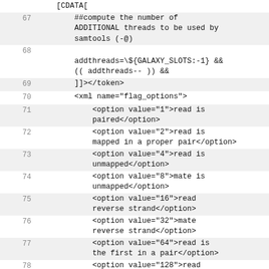[CDATA[
67    ##compute the number of ADDITIONAL threads to be used by samtools (-@)
68    addthreads=\${GALAXY_SLOTS:-1} &&
      (( addthreads-- )) &&
69    ]]></token>
70    <xml name="flag_options">
71      <option value="1">read is paired</option>
72      <option value="2">read is mapped in a proper pair</option>
73      <option value="4">read is unmapped</option>
74      <option value="8">mate is unmapped</option>
75      <option value="16">read reverse strand</option>
76      <option value="32">mate reverse strand</option>
77      <option value="64">read is the first in a pair</option>
78      <option value="128">read is the second in a pair</option>
79      <option value="256">alignment or read is not primary</option>
80      <option value="512">read fails platform/vendor quality